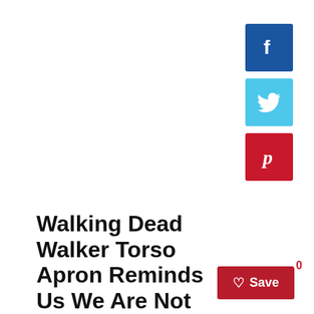[Figure (other): Social media share buttons: Facebook (blue), Twitter (light blue), Pinterest (red) arranged vertically on the right side]
[Figure (other): Red Save button with heart icon and count badge showing 0]
Walking Dead Walker Torso Apron Reminds Us We Are Not